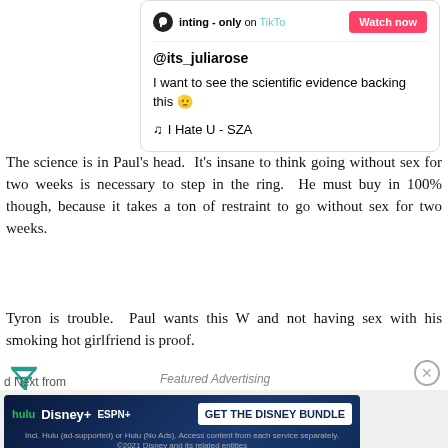[Figure (screenshot): TikTok embedded card with username @its_juliarose, post text 'I want to see the scientific evidence backing this 🫡', music 'I Hate U - SZA', and a Watch now button]
The science is in Paul's head.  It's insane to think going without sex for two weeks is necessary to step in the ring.  He must buy in 100% though, because it takes a ton of restraint to go without sex for two weeks.
Tyron is trouble.  Paul wants this W and not having sex with his smoking hot girlfriend is proof.
[Figure (screenshot): Disney Bundle advertisement banner with Hulu, Disney+, ESPN+ logos and 'GET THE DISNEY BUNDLE' call to action]